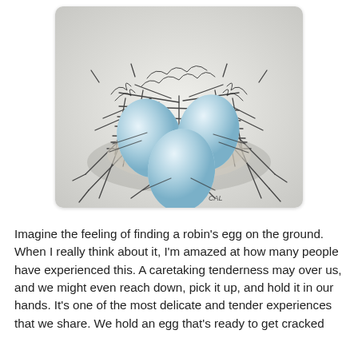[Figure (illustration): A detailed pen-and-ink style illustration of a bird's nest containing three light blue eggs. The nest is made of intricately drawn twigs and straw. The eggs are rendered with soft blue coloring and white highlights. A small signature 'CAL' appears at the bottom right of the illustration.]
Imagine the feeling of finding a robin's egg on the ground. When I really think about it, I'm amazed at how many people have experienced this. A caretaking tenderness may over us, and we might even reach down, pick it up, and hold it in our hands. It's one of the most delicate and tender experiences that we share. We hold an egg that's ready to get cracked